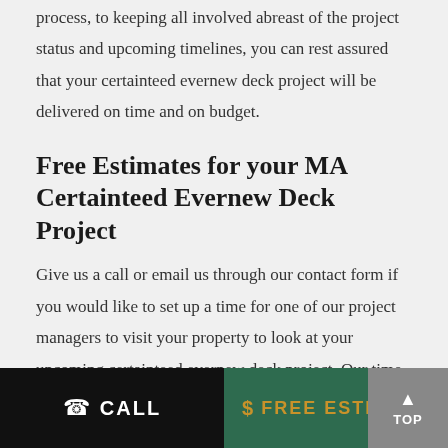process, to keeping all involved abreast of the project status and upcoming timelines, you can rest assured that your certainteed evernew deck project will be delivered on time and on budget.
Free Estimates for your MA Certainteed Evernew Deck Project
Give us a call or email us through our contact form if you would like to set up a time for one of our project managers to visit your property to look at your upcoming certainteed evernew deck project. Our time for project review as well as the estimate comes with no strings attached. We know that after we meet, and you receive our proposal, that you will
CALL   $  FREE ESTIMATE   TOP